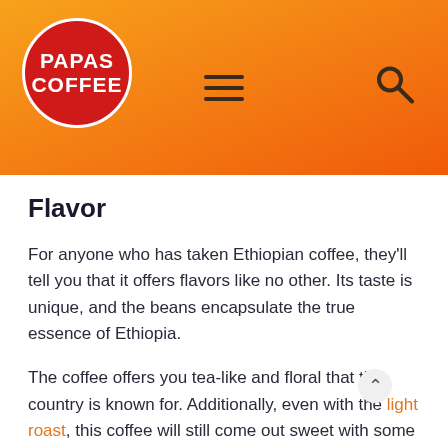[Figure (logo): Papas Coffee logo — red circle with white text reading PAPAS COFFEE, on an orange gradient header bar with hamburger menu and search icon]
Flavor
For anyone who has taken Ethiopian coffee, they'll tell you that it offers flavors like no other. Its taste is unique, and the beans encapsulate the true essence of Ethiopia.
The coffee offers you tea-like and floral that this country is known for. Additionally, even with the light roast, this coffee will still come out sweet with some hints vanilla.
Coffee Varieties